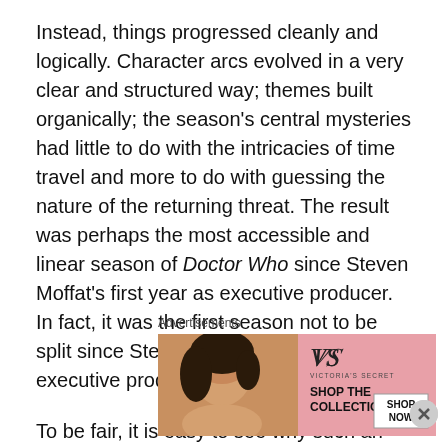Instead, things progressed cleanly and logically. Character arcs evolved in a very clear and structured way; themes built organically; the season's central mysteries had little to do with the intricacies of time travel and more to do with guessing the nature of the returning threat. The result was perhaps the most accessible and linear season of Doctor Who since Steven Moffat's first year as executive producer. In fact, it was the first season not to be split since Steven Moffat's first season as executive producer.
To be fair, it is easy to see why such an approach was taken. While Peter Capaldi might be one of the most high profile and most successful actors to ever take on the lead role, changing the lead actor on successful television
Advertisements
[Figure (other): Victoria's Secret advertisement banner with a model, VS logo, and 'SHOP THE COLLECTION / SHOP NOW' text on a pink background.]